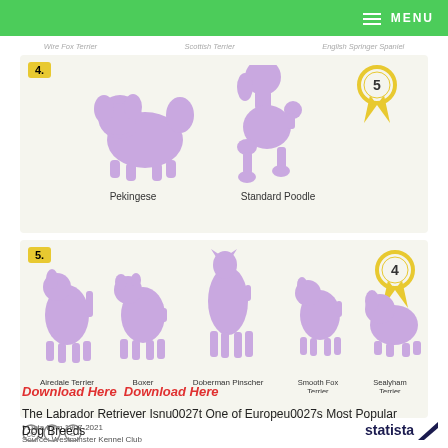MENU
Wire Fox Terrier  Scottish Terrier  English Springer Spaniel
[Figure (infographic): Section 4 infographic showing two purple dog silhouettes: Pekingese and Standard Poodle, with a gold medal badge showing number 5]
[Figure (infographic): Section 5 infographic showing five purple dog silhouettes: Airedale Terrier, Boxer, Doberman Pinscher, Smooth Fox Terrier, Sealyham Terrier, with a gold medal badge showing number 4]
* Data from 1907-2021
Source: Westminster Kennel Club
Download Here  Download Here
The Labrador Retriever Isnu0027t One of Europeu0027s Most Popular Dog Breeds